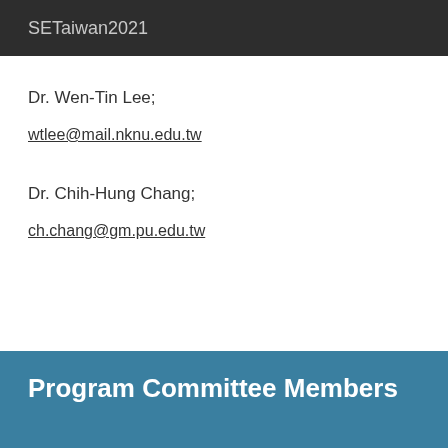SETaiwan2021
Dr. Wen-Tin Lee;
wtlee@mail.nknu.edu.tw
Dr. Chih-Hung Chang;
ch.chang@gm.pu.edu.tw
Program Committee Members